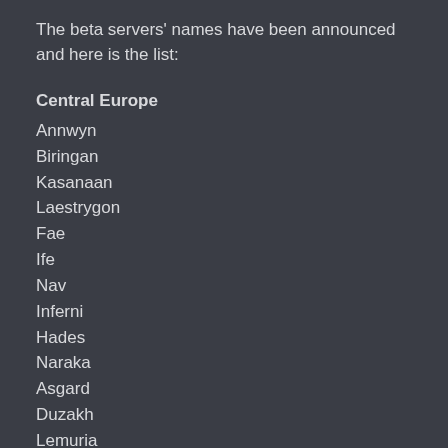The beta servers' names have been announced and here is the list:
Central Europe
Annwyn
Biringan
Kasanaan
Laestrygon
Fae
Ife
Nav
Inferni
Hades
Naraka
Asgard
Duzakh
Lemuria
Kusland